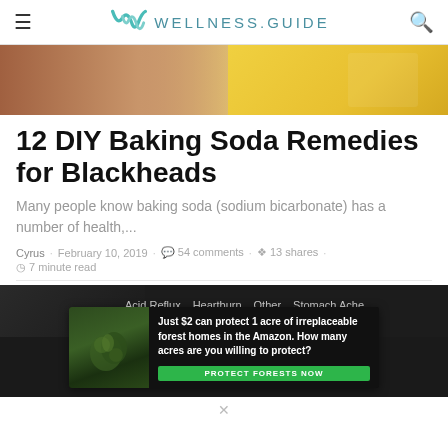WELLNESS.GUIDE
[Figure (photo): Close-up photo of skin with a baking soda product box visible on the right side, orange/yellow background]
12 DIY Baking Soda Remedies for Blackheads
Many people know baking soda (sodium bicarbonate) has a number of health,...
Cyrus · February 10, 2019 · 54 comments · 13 shares · 7 minute read
[Figure (screenshot): Bottom section showing a dark navigation bar with menu items: Acid Reflux, Heartburn, Other, Stomach Ache, and an overlaid advertisement banner reading 'Just $2 can protect 1 acre of irreplaceable forest homes in the Amazon. How many acres are you willing to protect?' with a green PROTECT FORESTS NOW button]
×